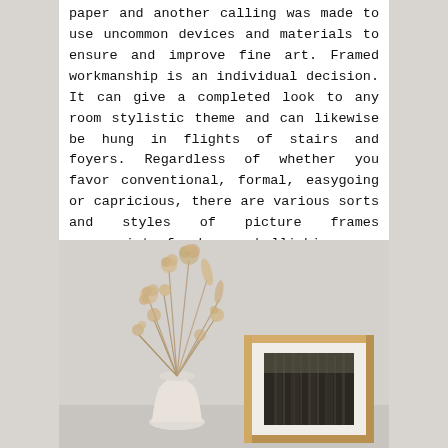paper and another calling was made to use uncommon devices and materials to ensure and improve fine art. Framed workmanship is an individual decision. It can give a completed look to any room stylistic theme and can likewise be hung in flights of stairs and foyers. Regardless of whether you favor conventional, formal, easygoing or capricious, there are various sorts and styles of picture frames appropriate for home embellishing.
[Figure (photo): A photo showing dried flowers/botanicals arrangement in a vase on the left, and a wooden picture frame containing a forest/trees photo on the right, set against a light grey background.]